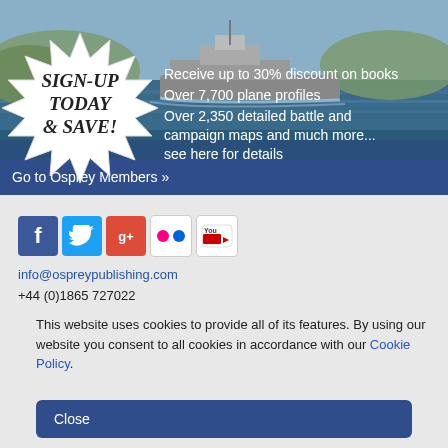[Figure (photo): Navy warship sailing on water with coastline in background, used as banner background image]
SIGN-UP TODAY & SAVE!
Receive up to 30% discount on books
Over 7,700 plane profiles
Over 2,350 detailed battle and campaign maps and much more... see here for details
Go to Osprey Members »
[Figure (infographic): Row of social media icons: Facebook, Twitter, Google+, Flickr, YouTube]
info@ospreypublishing.com
+44 (0)1865 727022
This website uses cookies to provide all of its features. By using our website you consent to all cookies in accordance with our Cookie Policy.
Close